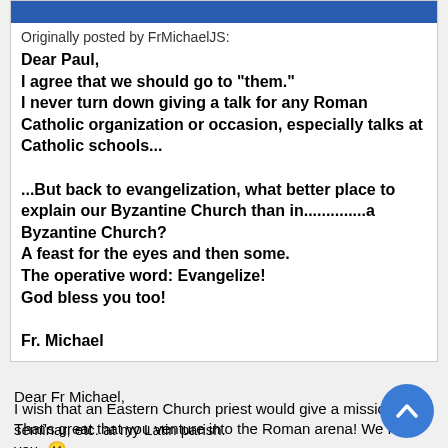Originally posted by FrMichaelJS:
Dear Paul,
I agree that we should go to "them."
I never turn down giving a talk for any Roman Catholic organization or occasion, especially talks at Catholic schools...

...But back to evangelization, what better place to explain our Byzantine Church than in..............a Byzantine Church?
A feast for the eyes and then some.
The operative word: Evangelize!
God bless you too!

Fr. Michael
Dear Fr Michael,

That's great that you venture into the Roman arena! We need you. 🙂

I wish that an Eastern Church priest would give a mission, a seminar, etc. at my Latin parish.